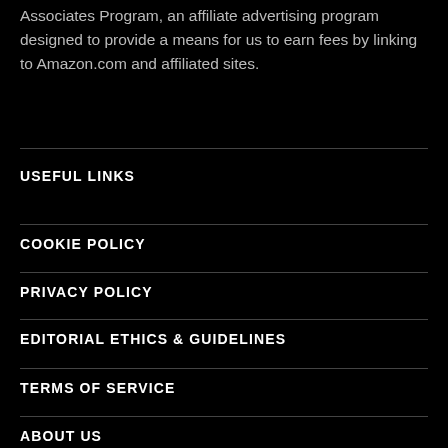Associates Program, an affiliate advertising program designed to provide a means for us to earn fees by linking to Amazon.com and affiliated sites.
USEFUL LINKS
COOKIE POLICY
PRIVACY POLICY
EDITORIAL ETHICS & GUIDELINES
TERMS OF SERVICE
ABOUT US